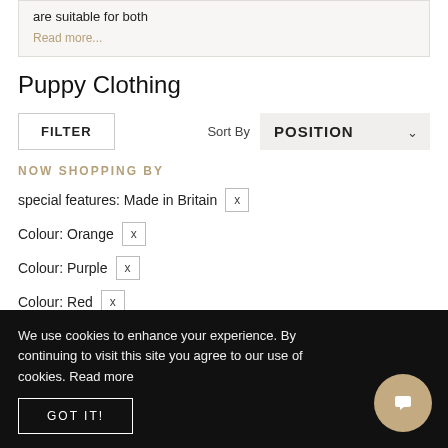are suitable for both
Read more...
Puppy Clothing
FILTER  Sort By  POSITION
NOW SHOPPING BY
special features: Made in Britain  x
Colour: Orange  x
Colour: Purple  x
Colour: Red  x
We use cookies to enhance your experience. By continuing to visit this site you agree to our use of cookies. Read more
GOT IT!